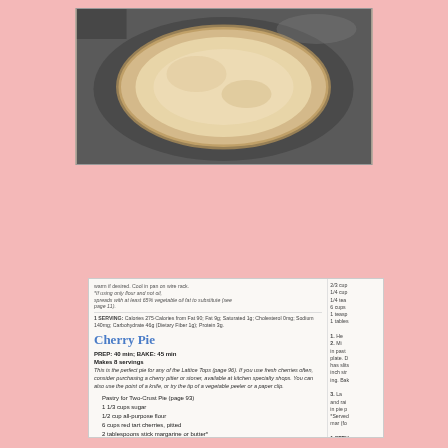[Figure (photo): Close-up photo of an unbaked pie crust in a cast iron skillet, showing a round pale dough with crimped edges, shot from above at an angle on a dark metal surface.]
warm if desired. Cool in pan on wire rack. *If using only flour and not oil, spreads with at least 65% vegetable oil fat to substitute (see page 11).
1 SERVING: Calories 275 Calories from Fat 90; Fat 9g; Saturated 1g; Cholesterol 0mg; Sodium 140mg; Carbohydrate 46g (Dietary Fiber 1g); Protein 3g.
Cherry Pie
PREP: 40 min; BAKE: 45 min
Makes 8 servings
This is the perfect pie for any of the Lattice Tops (page 96). If you use fresh cherries often, consider purchasing a cherry pitter or stoner, available at kitchen specialty shops. You can also use the point of a knife, or try the tip of a vegetable peeler or a paper clip.
Pastry for Two-Crust Pie (page 93)
1 1/3 cups sugar
1/2 cup all-purpose flour
6 cups red tart cherries, pitted
2 tablespoons stick margarine or butter*
1. Heat oven to 425°. Prepare pastry.
2. Mix sugar and flour in large bowl. Stir in cherries. Turn into pastry-lined pie plate. Dot with margarine. Cover with top pastry that has slits cut in it; seal and flute. Cover edge with 2- to 3-inch strip of